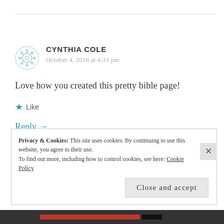CYNTHIA COLE
October 4, 2018 at 4:33 pm
Love how you created this pretty bible page!
Like
Reply →
Privacy & Cookies: This site uses cookies. By continuing to use this website, you agree to their use.
To find out more, including how to control cookies, see here: Cookie Policy
Close and accept